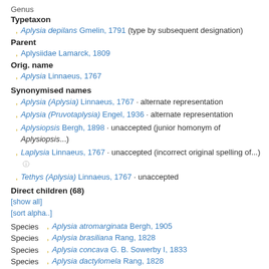Genus
Typetaxon
Aplysia depilans Gmelin, 1791 (type by subsequent designation)
Parent
Aplysiidae Lamarck, 1809
Orig. name
Aplysia Linnaeus, 1767
Synonymised names
Aplysia (Aplysia) Linnaeus, 1767 · alternate representation
Aplysia (Pruvotaplysia) Engel, 1936 · alternate representation
Aplysiopsis Bergh, 1898 · unaccepted (junior homonym of Aplysiopsis...)
Laplysia Linnaeus, 1767 · unaccepted (incorrect original spelling of...)
Tethys (Aplysia) Linnaeus, 1767 · unaccepted
Direct children (68)
[show all]
[sort alpha..]
Species  Aplysia atromarginata Bergh, 1905
Species  Aplysia brasiliana Rang, 1828
Species  Aplysia concava G. B. Sowerby I, 1833
Species  Aplysia dactylomela Rang, 1828
Species  Aplysia depilans Gmelin, 1791
Species  Aplysia elongata (Pease, 1860)
Species  Aplysia fasciata Poiret, 1789
Species  Aplysia japonica G. B. Sowerby I, 1869